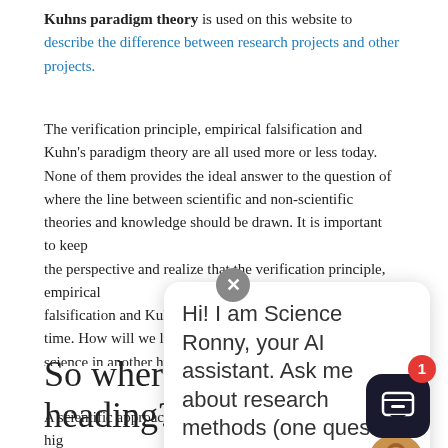Kuhns paradigm theory is used on this website to describe the difference between research projects and other projects.
The verification principle, empirical falsification and Kuhn's paradigm theory are all used more or less today. None of them provides the ideal answer to the question of where the line between scientific and non-scientific theories and knowledge should be drawn. It is important to keep the perspective and realize that the verification principle, empirical falsification and Kuhn's paradigm t... time. How will we look upon the de... science in another hundred years. ... development, the philosopher Pau... there may not be any distinct differ... and other general knowledge. Rea... page about the demarcatio... oble...
So where are we heading?
A scientific approach can be made on several levels. The hig... the ontological level. This is basic assumptions about the nature of things and how you perceive new scientific knowledge can be produced...
[Figure (other): AI chat assistant popup overlay showing 'Hi! I am Science Ronny, your AI assistant. Ask me about research methods (one question at a time).' with a close button, user avatar, and chat icon button with notification badge showing 1.]